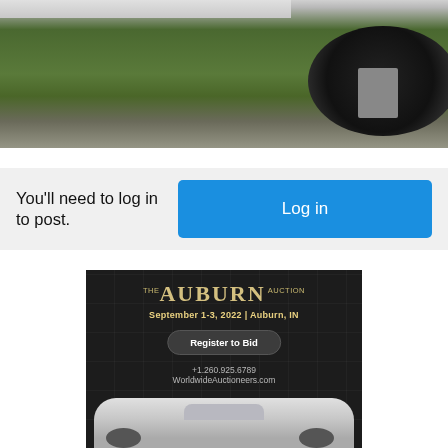[Figure (photo): Partial view of a car wheel (dark alloy) on a green grass and gravel background, showing the lower portion of a silver car body]
You'll need to log in to post.
Log in
[Figure (advertisement): The Auburn Auction advertisement. September 1-3, 2022 | Auburn, IN. Register to Bid button. +1.260.925.6789. WorldwideAuctioneers.com. Silver classic car shown at bottom.]